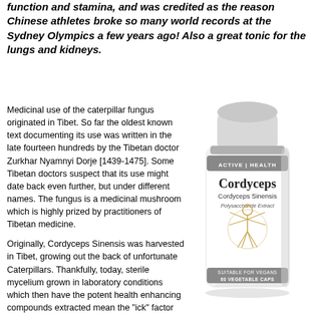function and stamina, and was credited as the reason Chinese athletes broke so many world records at the Sydney Olympics a few years ago! Also a great tonic for the lungs and kidneys.
Medicinal use of the caterpillar fungus originated in Tibet. So far the oldest known text documenting its use was written in the late fourteen hundreds by the Tibetan doctor Zurkhar Nyamnyi Dorje [1439-1475]. Some Tibetan doctors suspect that its use might date back even further, but under different names. The fungus is a medicinal mushroom which is highly prized by practitioners of Tibetan medicine.
Originally, Cordyceps Sinensis was harvested in Tibet, growing out the back of unfortunate Caterpillars. Thankfully, today, sterile mycelium grown in laboratory conditions which then have the potent health enhancing compounds extracted mean the "ick" factor has been completely removed.
Energizer Cordyces is used to combat chronic fatigue and low energy levels.
[Figure (photo): A white cylindrical supplement bottle labeled 'Active Health Cordyceps Cordyceps Sinensis Polysaccharide Extract, Suitable for Vegans, 60 Vegetable Caps' with a Vitruvian man-style figure on the label.]